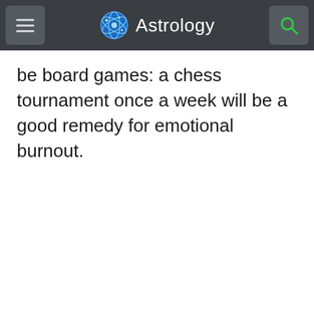Astrology
be board games: a chess tournament once a week will be a good remedy for emotional burnout.